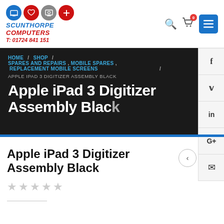[Figure (logo): Scunthorpe Computers logo with four circular icons and text 'SCUNTHORPE COMPUTERS T: 01724 841 151']
SCUNTHORPE COMPUTERS T: 01724 841 151
HOME / SHOP / SPARES AND REPAIRS , MOBILE SPARES , REPLACEMENT MOBILE SCREENS / APPLE IPAD 3 DIGITIZER ASSEMBLY BLACK
Apple iPad 3 Digitizer Assembly Black
Apple iPad 3 Digitizer Assembly Black
★★★★★